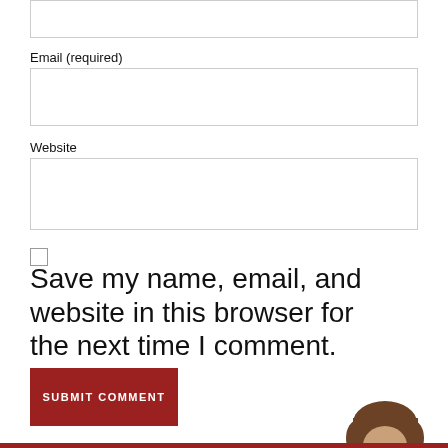Email (required)
[Figure (other): Empty input field for Email]
Website
[Figure (other): Empty input field for Website]
Save my name, email, and website in this browser for the next time I comment.
[Figure (other): Submit Comment button, dark red background]
[Figure (photo): Partial head/hair of a person visible at bottom right]